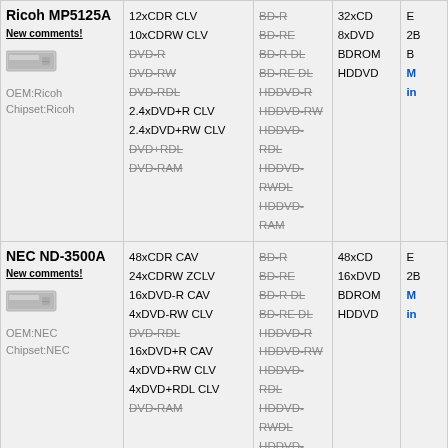| Product | Write Formats | Read Formats (unsupported) | Read Speed | Extra |
| --- | --- | --- | --- | --- |
| Ricoh MP5125A
New comments!
OEM:Ricoh
Chipset:Ricoh | 12xCDR CLV
10xCDRW CLV
DVD-R(strike)
DVD-RW(strike)
DVD-RDL(strike)
2.4xDVD+R CLV
2.4xDVD+RW CLV
DVD+RDL(strike)
DVD-RAM(strike) | BD-R(strike)
BD-RE(strike)
BD-R DL(strike)
BD-RE DL(strike)
HDDVD-R(strike)
HDDVD-RW(strike)
HDDVD-RDL(strike)
HDDVD-RWDL(strike)
HDDVD-RAM(strike) | 32xCD
8xDVD
BDROM
HDDVD | E...
2B...
B...
More info |
| NEC ND-3500A
New comments!
OEM:NEC
Chipset:NEC | 48xCDR CAV
24xCDRW ZCLV
16xDVD-R CAV
4xDVD-RW CLV
DVD-RDL(strike)
16xDVD+R CAV
4xDVD+RW CLV
4xDVD+RDL CLV
DVD-RAM(strike) | BD-R(strike)
BD-RE(strike)
BD-R DL(strike)
BD-RE DL(strike)
HDDVD-R(strike)
HDDVD-RW(strike)
HDDVD-RDL(strike)
HDDVD-RWDL(strike)
HDDVD-RAM(strike) | 48xCD
16xDVD
BDROM
HDDVD | E...
2B...
M...
info |
| LG GSA-4163B
New comments!
... | 40xCDR ZCLV
24xCDRW ZCLV
16xDVD-R PCAV
6xDVD-RW CLV | BD-R(strike)
BD-RE(strike)
BD-R DL(strike)
BD-RE DL(strike) | 40xCD
16xDVD
BDROM
HDDVD | E...
2B...
B...
M... |